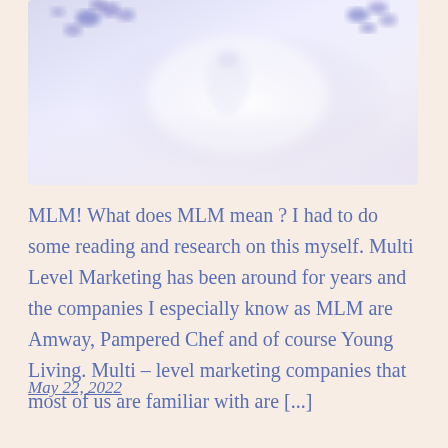[Figure (photo): A soft-focus photograph showing lavender flowers and what appears to be a glass bottle/vial, with blue-purple floral elements against a pale blurred background.]
MLM! What does MLM mean ? I had to do some reading and research on this myself. Multi Level Marketing has been around for years and the companies I especially know as MLM are Amway, Pampered Chef and of course Young Living. Multi – level marketing companies that most of us are familiar with are [...]
May 22, 2022